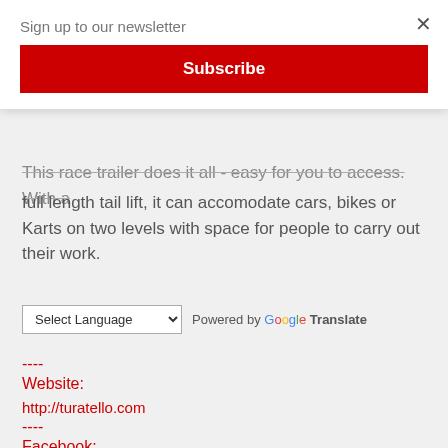Sign up to our newsletter
Subscribe
This race trailer does it all - easy for you to access. With a full length tail lift, it can accomodate cars, bikes or Karts on two levels with space for people to carry out their work.
Select Language - Powered by Google Translate
----
Website:

http://turatello.com
----
Facebook: